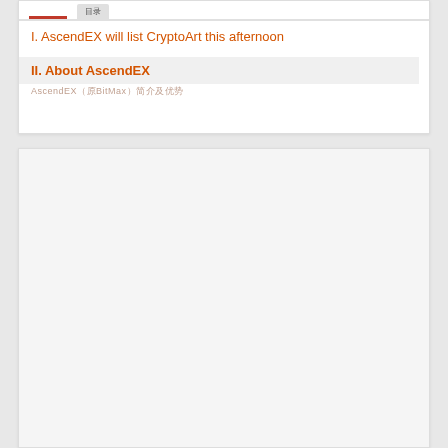I. AscendEX will list CryptoArt this afternoon
II. About AscendEX